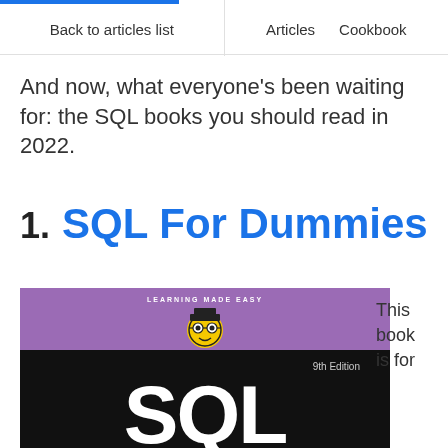Back to articles list   Articles   Cookbook
And now, what everyone’s been waiting for: the SQL books you should read in 2022.
1.   SQL For Dummies
[Figure (photo): Book cover of SQL For Dummies 9th Edition. Purple top section with 'LEARNING MADE EASY' text and the Dummies mascot icon (face with glasses in yellow circle). Black bottom section with large white 'SQL' text and '9th Edition' label.]
This book is for